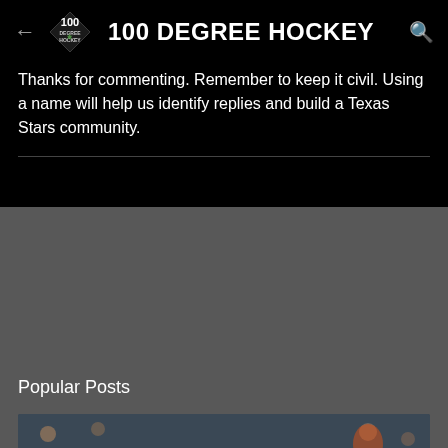100 DEGREE HOCKEY
Thanks for commenting. Remember to keep it civil. Using a name will help us identify replies and build a Texas Stars community.
Popular Posts
[Figure (photo): Hockey player in dark green jersey and black helmet looking upward, ice rink in background]